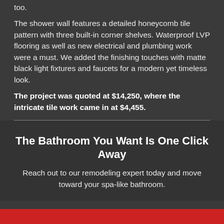too.
The shower wall features a detailed honeycomb tile pattern with three built-in corner shelves. Waterproof LVP flooring as well as new electrical and plumbing work were a must. We added the finishing touches with matte black light fixtures and faucets for a modern yet timeless look.
The project was quoted at $14,250, where the intricate tile work came in at $4,455.
The Bathroom You Want Is One Click Away
Reach out to our remodeling expert today and move toward your spa-like bathroom.